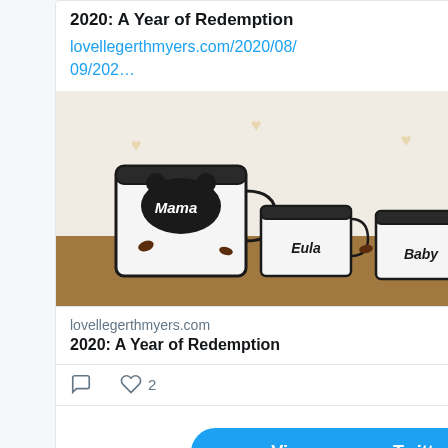2020: A Year of Redemption
lovellegerthmyers.com/2020/08/09/202…
[Figure (photo): Four white enamel mugs with bear silhouettes labeled Mama, Eula, Baby, and Papa on a wooden surface with coffee beans]
lovellegerthmyers.com
2020: A Year of Redemption
♡ 2 (likes)
View more on Twitter
Learn more about privacy on Twitter